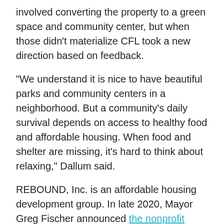involved converting the property to a green space and community center, but when those didn't materialize CFL took a new direction based on feedback.
“We understand it is nice to have beautiful parks and community centers in a neighborhood. But a community’s daily survival depends on access to healthy food and affordable housing. When food and shelter are missing, it’s hard to think about relaxing,” Dallum said.
REBOUND, Inc. is an affordable housing development group. In late 2020, Mayor Greg Fischer announced the nonprofit would be looking to establish a community land trust.
Community land trusts aim to keep housing prices low by...